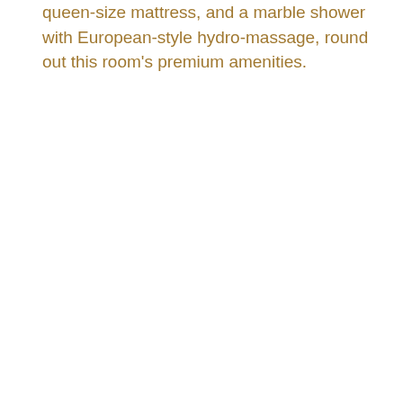queen-size mattress, and a marble shower with European-style hydro-massage, round out this room's premium amenities.